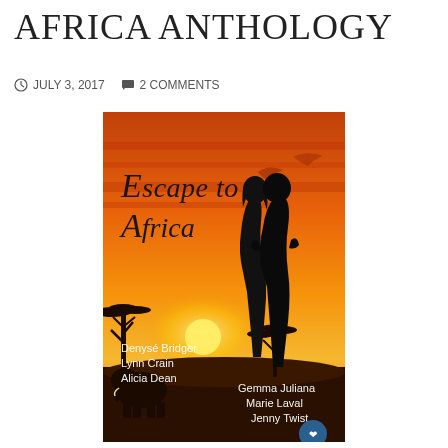AFRICA ANTHOLOGY
JULY 3, 2017   2 COMMENTS
[Figure (illustration): Book cover for 'Escape to Africa' anthology showing silhouette of couple kissing against an orange African sunset, with acacia trees and elephants. Authors listed: Denysé Bridger, Lynn Crain, Alicia Dean, Gemma Juliana, Marie Laval, Jenny Twist.]